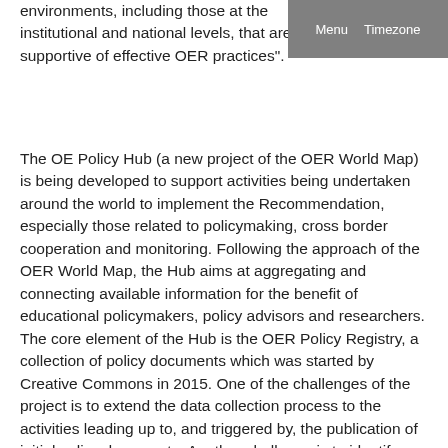environments, including those at the institutional and national levels, that are supportive of effective OER practices".
The OE Policy Hub (a new project of the OER World Map) is being developed to support activities being undertaken around the world to implement the Recommendation, especially those related to policymaking, cross border cooperation and monitoring. Following the approach of the OER World Map, the Hub aims at aggregating and connecting available information for the benefit of educational policymakers, policy advisors and researchers. The core element of the Hub is the OER Policy Registry, a collection of policy documents which was started by Creative Commons in 2015. One of the challenges of the project is to extend the data collection process to the activities leading up to, and triggered by, the publication of initial policy documents. Another challenge is to identify mechanisms to evaluate policy impacts, to support benchlearning.